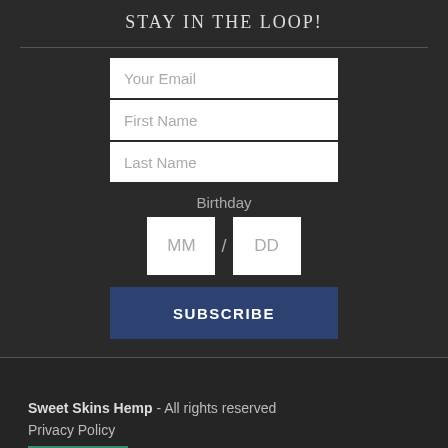STAY IN THE LOOP!
Your Email
First Name
Last Name
Birthday
MM / DD
SUBSCRIBE
Sweet Skins Hemp - All rights reserved
Privacy Policy